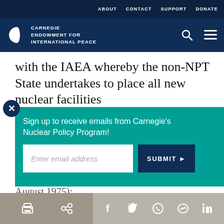ABOUT  CONTACT  SUPPORT  DONATE
[Figure (logo): Carnegie Endowment for International Peace logo with globe icon and navigation icons for search and menu]
with the IAEA whereby the non-NPT State undertakes to place all new nuclear facilities
Sign up to receive emails from Carnegie's Nuclear Policy Program!
Enter email address
SUBMIT ▶
August 1975);
Print | Share icons: link, Facebook, Twitter, WhatsApp, Messenger, LinkedIn